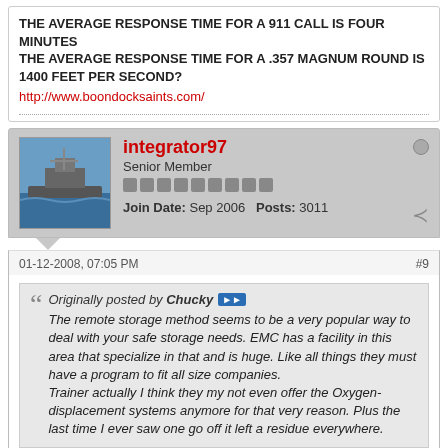THE AVERAGE RESPONSE TIME FOR A 911 CALL IS FOUR MINUTES THE AVERAGE RESPONSE TIME FOR A .357 MAGNUM ROUND IS 1400 FEET PER SECOND?
http://www.boondocksaints.com/
integrator97
Senior Member
Join Date: Sep 2006   Posts: 3011
01-12-2008, 07:05 PM
#9
Originally posted by Chucky
The remote storage method seems to be a very popular way to deal with your safe storage needs. EMC has a facility in this area that specialize in that and is huge. Like all things they must have a program to fit all size companies.
Trainer actually I think they my not even offer the Oxygen-displacement systems anymore for that very reason. Plus the last time I ever saw one go off it left a residue everywhere.
I don't do the offsite storage over the internet. Being a security company, I just thing it's too risky. We may be small, but it's just something I'm not gonna try. We also don't have wifi for that reason. But most businesses don't have that issue.